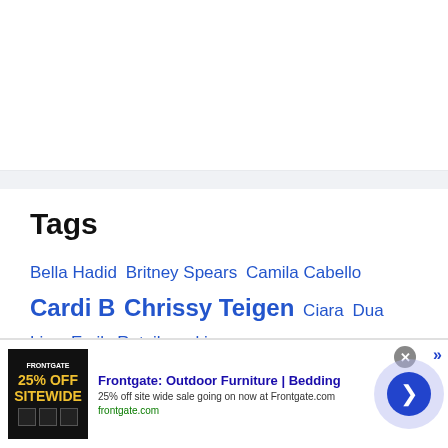Tags
Bella Hadid  Britney Spears  Camila Cabello  Cardi B  Chrissy Teigen  Ciara  Dua Lipa  Emily Ratajkowski
[Figure (screenshot): Advertisement banner for Frontgate: Outdoor Furniture | Bedding. Shows 25% off sitewide sale. Image shows dark background with gold text '25% OFF SITEWIDE'. Ad text: 'Frontgate: Outdoor Furniture | Bedding', '25% off site wide sale going on now at Frontgate.com', 'frontgate.com'. Close button (X) and forward arrow button visible.]